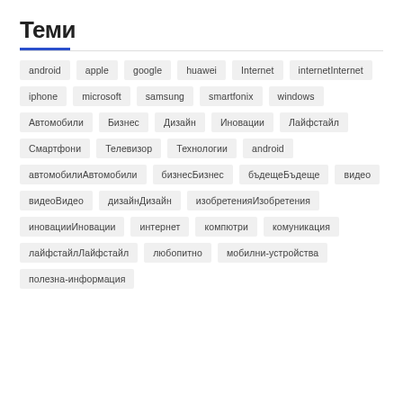Теми
android
apple
google
huawei
Internet
internetInternet
iphone
microsoft
samsung
smartfonix
windows
Автомобили
Бизнес
Дизайн
Иновации
Лайфстайл
Смартфони
Телевизор
Технологии
android
автомобилиАвтомобили
бизнесБизнес
бъдещеБъдеще
видео
видеоВидео
дизайнДизайн
изобретенияИзобретения
иновацииИновации
интернет
компютри
комуникация
лайфстайлЛайфстайл
любопитно
мобилни-устройства
полезна-информация